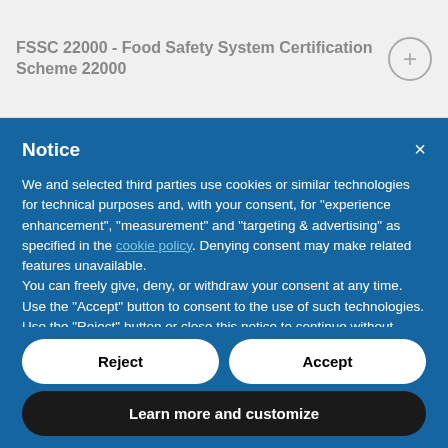FSSC 22000 - Food Safety System Certification Scheme 22000
Notice
We and selected third parties use cookies or similar technologies for technical purposes and, with your consent, for “experience enhancement”, “measurement” and “targeting & advertising” as specified in the cookie policy. Denying consent may make related features unavailable.
You can freely give, deny, or withdraw your consent at any time.
Use the “Accept” button to consent to the use of such technologies. Use the “Reject” button or close this notice to continue without accepting.
Reject
Accept
Learn more and customize